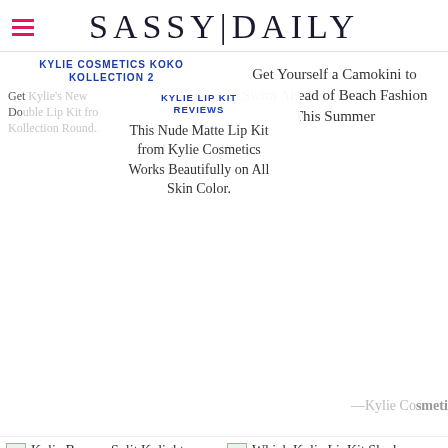SASSY|DAILY
KYLIE COSMETICS KOKO KOLLECTION 2
Get Yourself a Camokini to Swim Ahead of Beach Fashion This Summer
KYLIE LIP KIT REVIEWS
This Nude Matte Lip Kit from Kylie Cosmetics Works Beautifully on All Skin Color.
Kylie Cosmetics Exposed Lip Kit Review
[Figure (photo): Thumbnail image for Kylie Banana Split Kylighter article]
KYLIE BANANA SPLIT KYLIGHTER
Use Kylie's Banana Split Kylighter for the Perfect Golden Glow on Your Face
[Figure (photo): Thumbnail image for Which Kylie LipKit Shade article]
KYLIE LIP KIT
Expert's Guide on Kylie Lip Kit Shades That Ranges from Nude to Bold Colors.